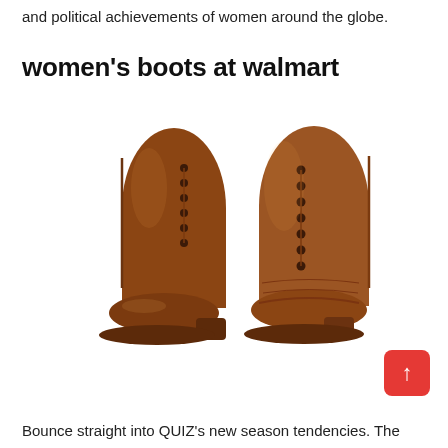and political achievements of women around the globe.
women's boots at walmart
[Figure (photo): Product photo of two brown leather lace-up ankle/mid-calf boots shown side by side — one shown from the side and one from the front — on a white background.]
Bounce straight into QUIZ's new season tendencies. The